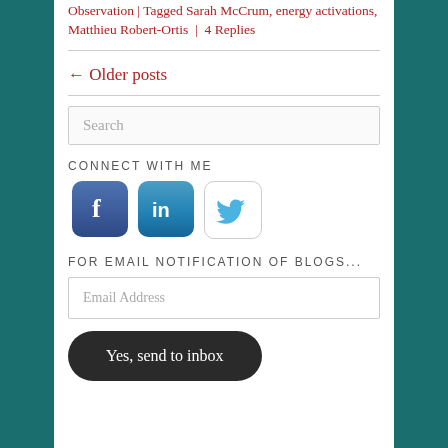Observation | Tagged Sarah McCrum, energy activations, Matthieu Robert-Ortis | 4 Replies
← Older posts
[Figure (screenshot): Search input box with placeholder text 'Search']
CONNECT WITH ME
[Figure (infographic): Social media icons: Facebook, LinkedIn, Twitter]
FOR EMAIL NOTIFICATION OF BLOGS...
[Figure (screenshot): Email address input field with placeholder 'Email Address' and a dark rounded button 'Yes, send to inbox']